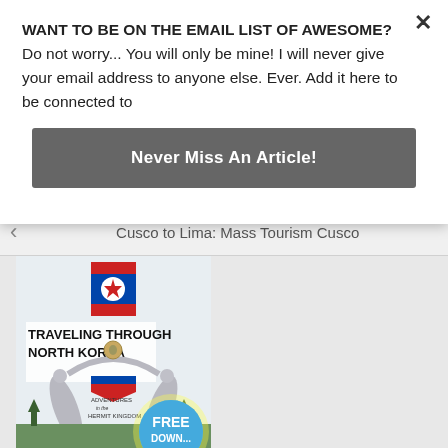WANT TO BE ON THE EMAIL LIST OF AWESOME? Do not worry... You will only be mine! I will never give your email address to anyone else. Ever. Add it here to be connected to
Never Miss An Article!
Cusco to Lima: Mass Tourism Cusco
[Figure (illustration): Book cover for 'Traveling Through North Korea: Adventures in the Hermit Kingdom' with North Korean flag emblem, statue of two figures arching over, and a FREE DOWNLOAD badge at bottom]